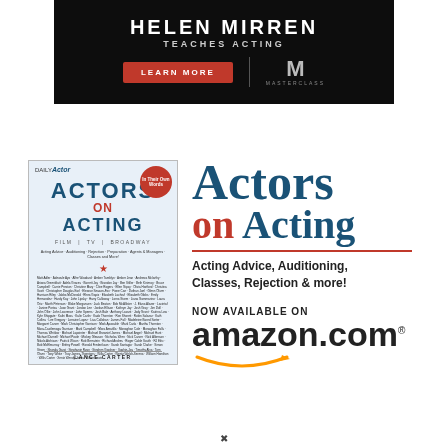[Figure (illustration): MasterClass banner advertisement: dark background with 'HELEN MIRREN TEACHES ACTING' text, a red 'LEARN MORE' button, and MasterClass logo with M emblem]
[Figure (illustration): Book advertisement for 'Actors on Acting' by Lance Carter, published by Daily Actor. Shows book cover on left and promotional text on right including 'Acting Advice, Auditioning, Classes, Rejection & more!' and 'Now Available on amazon.com' with Amazon smile logo]